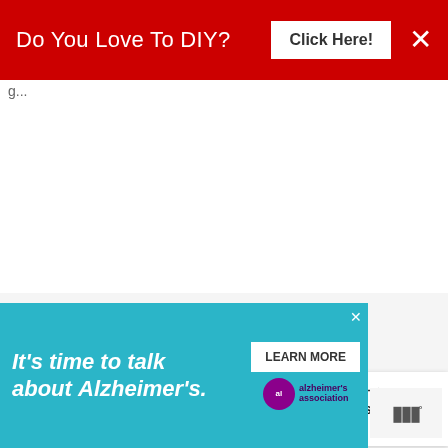[Figure (screenshot): Red promotional banner with text 'Do You Love To DIY?' and a 'Click Here!' button and an X close button]
[Figure (screenshot): Floating heart (favorite) and share action buttons on the right side of the page]
[Figure (screenshot): What's Next card showing 'The Strongest Form Of Magic' thumbnail linking to 'Love Songs And Lyrics']
[Figure (screenshot): Advertisement banner: 'It's time to talk about Alzheimer's.' with LEARN MORE button, Alzheimer's association logo, and close button. Moo logo appears to the right.]